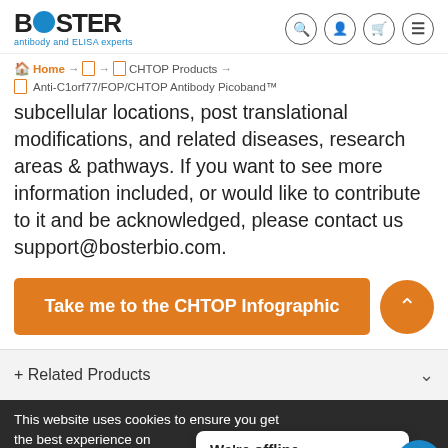BOSTER antibody and ELISA experts — navigation icons
Home → → CHTOP Products →
Anti-C1orf77/FOP/CHTOP Antibody Picoband™ subcellular locations, post translational modifications, and related diseases, research areas & pathways. If you want to see more information included, or would like to contribute to it and be acknowledged, please contact us support@bosterbio.com.
Take me to the CHTOP Infographic
+ Related Products
This website uses cookies to ensure you get the best experience on
Got it!
We're offline
Leave a message